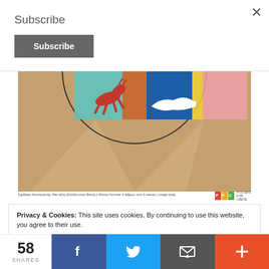×
Subscribe
Subscribe
[Figure (illustration): Circular decorative poster illustration showing segments with a red animal figure, blue segment with white island silhouette, teal and pink segments, on tan/brown background with radiating light beams]
Σχεδίασε Αντελκαστής: Μια άλλη Ελλ άδα είναι Φικτός | Θέλετε Λεπτότε 4 διθμων από 4 εικόνες | onagr-clobj   [POSTERS FOR CRETE logo]
Privacy & Cookies: This site uses cookies. By continuing to use this website, you agree to their use.
To find out more, including how to control cookies, see here: Cookie Policy
58 SHARES